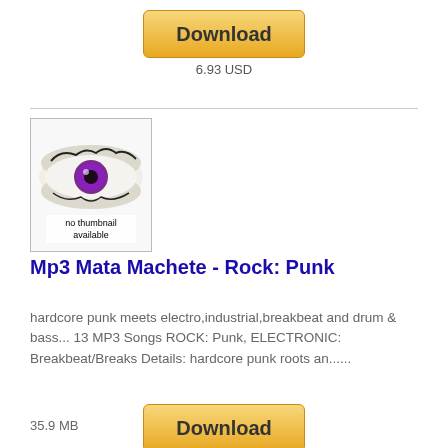[Figure (other): Download button (gold/yellow rounded rectangle) at top]
6.93 USD
[Figure (photo): Album thumbnail showing a purple eye image with text 'no thumbnail available']
Mp3 Mata Machete - Rock: Punk
hardcore punk meets electro,industrial,breakbeat and drum & bass... 13 MP3 Songs ROCK: Punk, ELECTRONIC: Breakbeat/Breaks Details: hardcore punk roots an......
35.9 MB
[Figure (other): Download button (gold/yellow rounded rectangle) at bottom, partially visible]